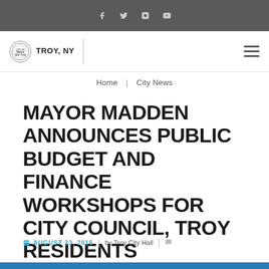Social media icons bar
[Figure (logo): City of Troy, NY logo with circular seal and bold text TROY, NY]
Home | City News
MAYOR MADDEN ANNOUNCES PUBLIC BUDGET AND FINANCE WORKSHOPS FOR CITY COUNCIL, TROY RESIDENTS
AUGUST 23, 2016 | by Troy City Hall